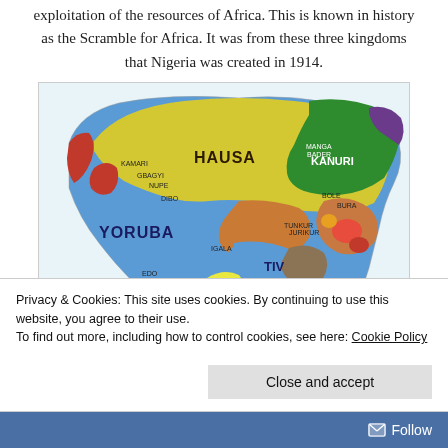exploitation of the resources of Africa. This is known in history as the Scramble for Africa. It was from these three kingdoms that Nigeria was created in 1914.
[Figure (map): A colorful ethnic/language map of Nigeria showing major groups including HAUSA (yellow, north-central), KANURI (green, northeast), YORUBA (blue, southwest), IGBO (blue, southeast), TIV (blue, central), and many other smaller ethnic groups in various colors. A key/legend is visible in the bottom right corner.]
Privacy & Cookies: This site uses cookies. By continuing to use this website, you agree to their use.
To find out more, including how to control cookies, see here: Cookie Policy
Close and accept
Follow